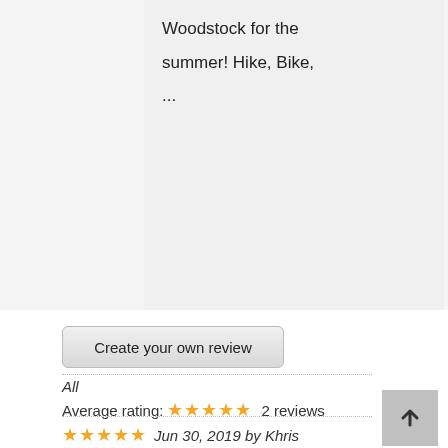Woodstock for the summer! Hike, Bike, ...
Create your own review
All
Average rating: ★★★★★ 2 reviews
★★★★★ Jun 30, 2019 by Khris
Peaceful Vacation Home
We picked The Aerie because it offered a